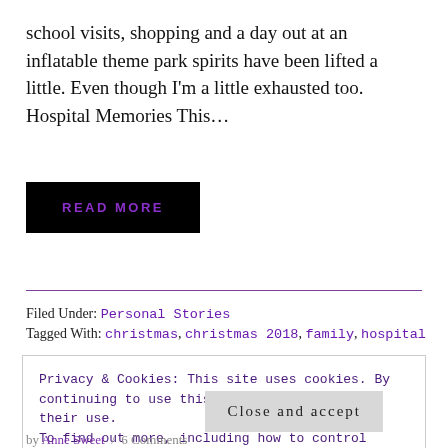school visits, shopping and a day out at an inflatable theme park spirits have been lifted a little. Even though I'm a little exhausted too. Hospital Memories This…
READ MORE
Filed Under: Personal Stories
Tagged With: christmas, christmas 2018, family, hospital
Privacy & Cookies: This site uses cookies. By continuing to use this website, you agree to their use. To find out more, including how to control cookies, see here: Cookie Policy
Close and accept
by Anne Sweet / 6 Comments